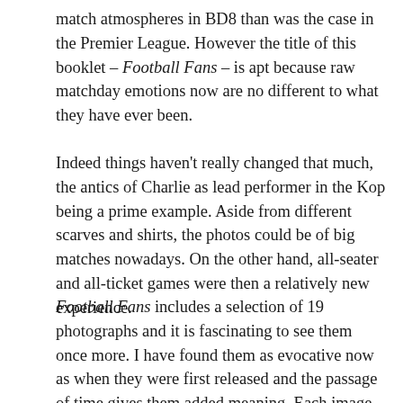match atmospheres in BD8 than was the case in the Premier League. However the title of this booklet – Football Fans – is apt because raw matchday emotions now are no different to what they have ever been.
Indeed things haven't really changed that much, the antics of Charlie as lead performer in the Kop being a prime example. Aside from different scarves and shirts, the photos could be of big matches nowadays. On the other hand, all-seater and all-ticket games were then a relatively new experience.
Football Fans includes a selection of 19 photographs and it is fascinating to see them once more. I have found them as evocative now as when they were first released and the passage of time gives them added meaning. Each image tells a multitude of stories and collectively they are